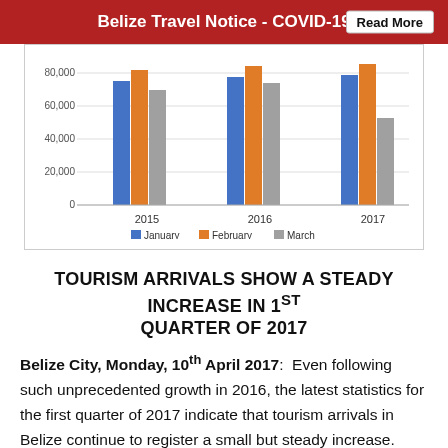Belize Travel Notice - COVID-19   Read More
[Figure (grouped-bar-chart): ]
TOURISM ARRIVALS SHOW A STEADY INCREASE IN 1ST QUARTER OF 2017
Belize City, Monday, 10th April 2017:  Even following such unprecedented growth in 2016, the latest statistics for the first quarter of 2017 indicate that tourism arrivals in Belize continue to register a small but steady increase. This underscores the hard work and dedication of our tourism stakeholders and the fact that Belize continues to attract travelers, as a growing and popular world tourism